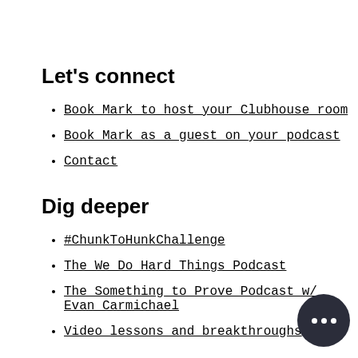Let's connect
Book Mark to host your Clubhouse room
Book Mark as a guest on your podcast
Contact
Dig deeper
#ChunkToHunkChallenge
The We Do Hard Things Podcast
The Something to Prove Podcast w/ Evan Carmichael
Video lessons and breakthroughs